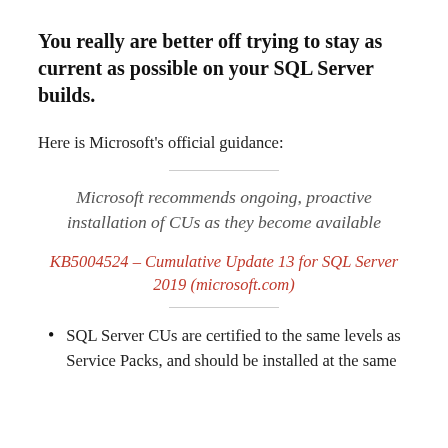You really are better off trying to stay as current as possible on your SQL Server builds.
Here is Microsoft's official guidance:
Microsoft recommends ongoing, proactive installation of CUs as they become available
KB5004524 – Cumulative Update 13 for SQL Server 2019 (microsoft.com)
SQL Server CUs are certified to the same levels as Service Packs, and should be installed at the same